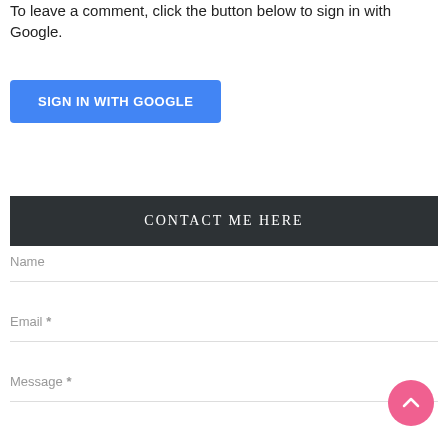To leave a comment, click the button below to sign in with Google.
SIGN IN WITH GOOGLE
CONTACT ME HERE
Name
Email *
Message *